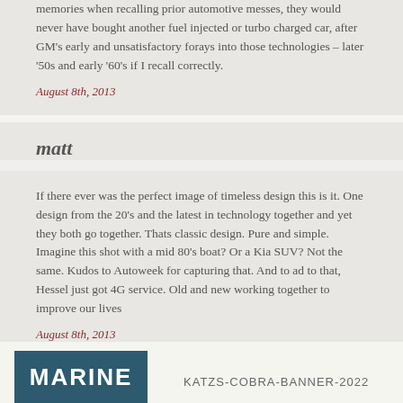memories when recalling prior automotive messes, they would never have bought another fuel injected or turbo charged car, after GM's early and unsatisfactory forays into those technologies – later '50s and early '60's if I recall correctly.
August 8th, 2013
matt
If there ever was the perfect image of timeless design this is it. One design from the 20's and the latest in technology together and yet they both go together. Thats classic design. Pure and simple. Imagine this shot with a mid 80's boat? Or a Kia SUV? Not the same. Kudos to Autoweek for capturing that. And to ad to that, Hessel just got 4G service. Old and new working together to improve our lives
August 8th, 2013
[Figure (logo): Marine logo banner - partial blue rectangle with white bold text 'MARINE' visible at bottom of page]
KATZS-COBRA-BANNER-2022